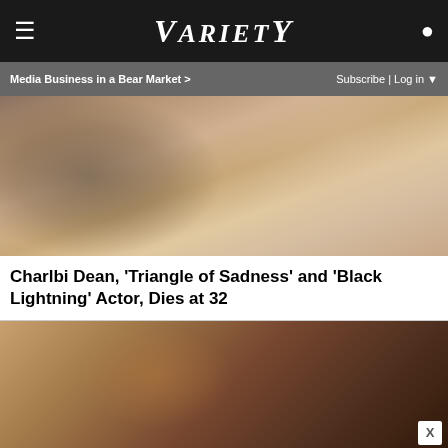VARIETY
Media Business in a Bear Market > Subscribe | Log in
[Figure (photo): Close-up photo of a woman with long wavy hair wearing a diamond necklace and white dress]
Charlbi Dean, 'Triangle of Sadness' and 'Black Lightning' Actor, Dies at 32
[Figure (photo): Close-up photo of hands holding an object near a person's face, in a warm-toned indoor setting]
[Figure (infographic): Advertisement banner: BOGO BLINK MINIS GET YOURS NOW with SPY logo on yellow background]